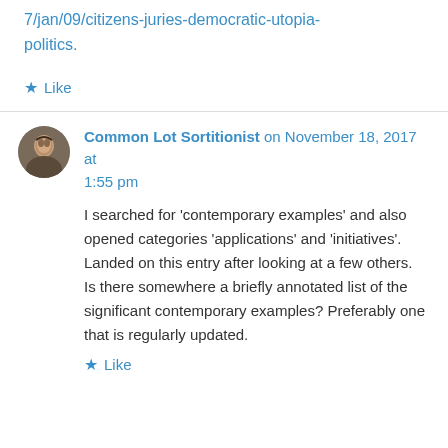7/jan/09/citizens-juries-democratic-utopia-politics.
★ Like
Common Lot Sortitionist on November 18, 2017 at 1:55 pm
I searched for 'contemporary examples' and also opened categories 'applications' and 'initiatives'. Landed on this entry after looking at a few others.
Is there somewhere a briefly annotated list of the significant contemporary examples? Preferably one that is regularly updated.
★ Like